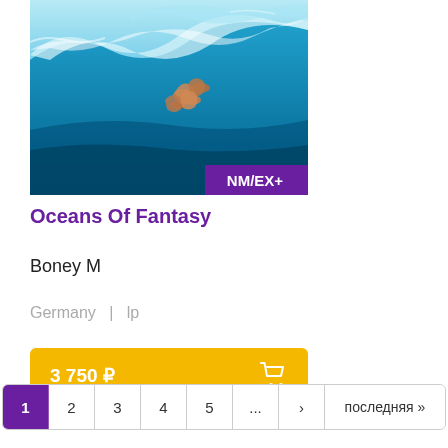[Figure (photo): Album cover for Oceans Of Fantasy by Boney M showing people surfing on a large wave with NM/EX+ condition badge in purple at bottom right]
Oceans Of Fantasy
Boney M
Germany  |  lp
3 750 ₽
1  2  3  4  5  ...  ›  последняя »